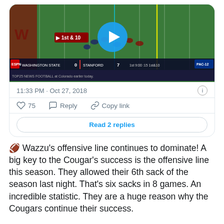[Figure (screenshot): Embedded tweet card showing a video thumbnail of a Washington State vs Stanford football game (score 0-7, 1st quarter 9:00, 1st & 10), with timestamp 11:33 PM · Oct 27, 2018, 75 likes, Reply and Copy link actions, and a Read 2 replies button.]
🏈 Wazzu's offensive line continues to dominate! A big key to the Cougar's success is the offensive line this season. They allowed their 6th sack of the season last night. That's six sacks in 8 games. An incredible statistic. They are a huge reason why the Cougars continue their success.